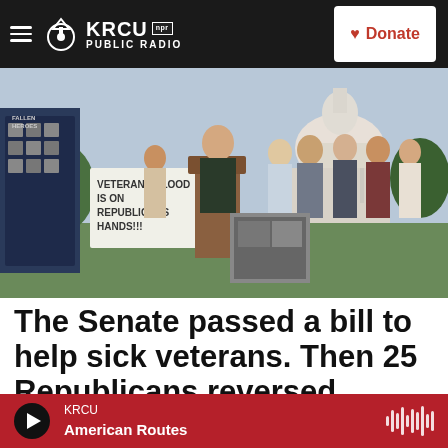KRCU NPR PUBLIC RADIO | Donate
[Figure (photo): Press conference outside the US Capitol building. A woman in a dark blazer speaks at a podium surrounded by a group of people. Signs visible include 'Fallen Heroes' and 'Veterans Blood is on Republicans Hands!!!']
The Senate passed a bill to help sick veterans. Then 25 Republicans reversed course
Quil Lawrence · July 29, 2022
KRCU | American Routes